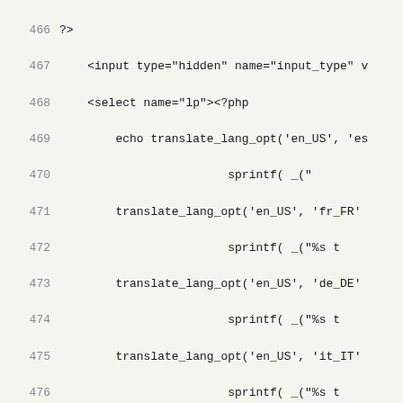[Figure (screenshot): Source code viewer showing PHP code lines 466-498, with line numbers on the left in gray and code on the right in monospace font on a light beige background.]